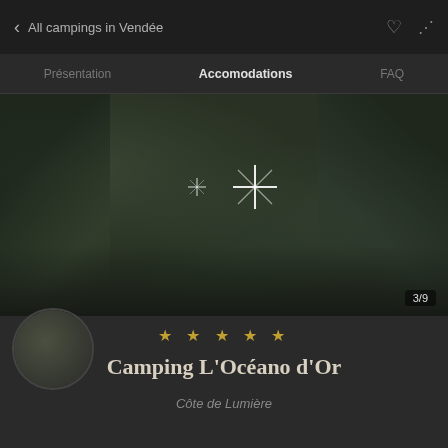All campings in Vendée
Presentation | Accomodations | FAQ
[Figure (photo): Darkened outdoor camping scene showing tents and camping structures, with two star/sparkle icons overlaid in the center of the image, and a photo counter showing 3/9 in the bottom right corner]
★ ★ ★ ★ ★
Camping L'Océano d'Or
Côte de Lumière